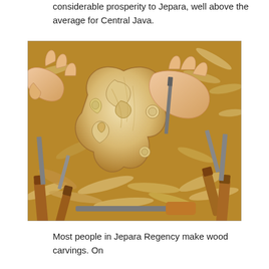considerable prosperity to Jepara, well above the average for Central Java.
[Figure (photo): Close-up photograph of hands carving an intricate wooden acanthus leaf scroll design using chisels. Wood shavings and multiple carving tools with wooden handles are visible around the piece.]
Most people in Jepara Regency make wood carvings. On